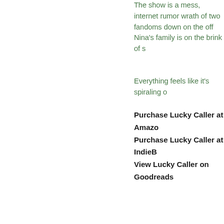The show is a mess, internet rumo... wrath of two fandoms down on the... off Nina's family is on the brink of s...
Everything feels like it's spiraling o...
Purchase Lucky Caller at Amazo...
Purchase Lucky Caller at IndieB...
View Lucky Caller on Goodreads...
Strange Exit
by Parker Peevyhouse
Hardcover
Tor Teen
Released 1/14/2020
Seventeen-year-old Lake spends h... strange, post-apocalyptic landscap... forgotten one very important thing:... Everyone she meets is a passenge... been orbiting Earth since a nuclea... that was supposed to prepare the... apocalypse has trapped their mind... reality and their bodies in stasis ch...